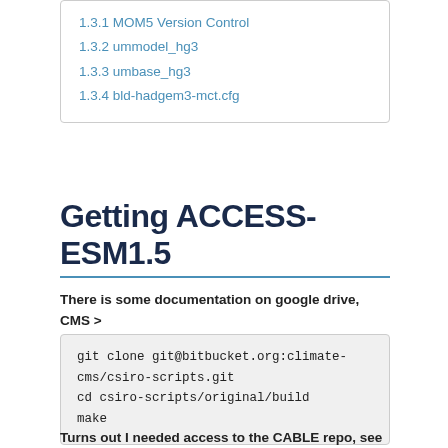1.3.1 MOM5 Version Control
1.3.2 ummodel_hg3
1.3.3 umbase_hg3
1.3.4 bld-hadgem3-mct.cfg
Getting ACCESS-ESM1.5
There is some documentation on google drive, CMS > Coupled Models
git clone git@bitbucket.org:climate-cms/csiro-scripts.git
cd csiro-scripts/original/build
make
Turns out I needed access to the CABLE repo, see